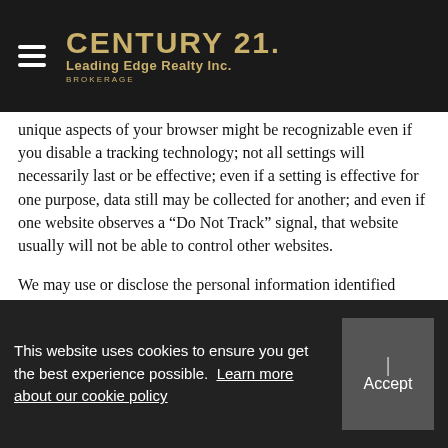CENTURY 21. Leading Edge Realty Inc. BROKERAGE
unique aspects of your browser might be recognizable even if you disable a tracking technology; not all settings will necessarily last or be effective; even if a setting is effective for one purpose, data still may be collected for another; and even if one website observes a “Do Not Track” signal, that website usually will not be able to control other websites.
We may use or disclose the personal information identified above for one or more of the following business purposes (“Business Purpose”), as further described in Sections 2 (Information Use) and 3 (Information Disclosure): To fulfill or meet the reason you provided the information (e.g., to help provide products and services to you).
This website uses cookies to ensure you get the best experience possible. Learn more about our cookie policy